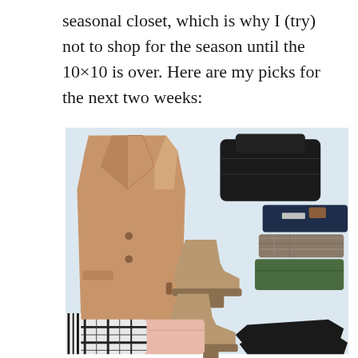seasonal closet, which is why I (try) not to shop for the season until the 10×10 is over. Here are my picks for the next two weeks:
[Figure (photo): Flat lay photo of clothing items including a tan/camel blazer, black turtleneck sweater, dark denim jeans, patterned pants, green pants, tan suede ankle boots, black pointed-toe flats, a pink top, and a black and white plaid shirt, all arranged on a light blue/white background.]